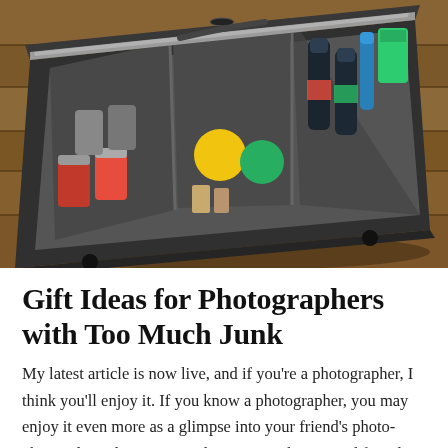[Figure (photo): An open black camera bag / roller case lying on a wooden floor, packed with various items including canned drinks, a lemon, a lime, wine bottles, and other miscellaneous objects in compartmentalized sections.]
Gift Ideas for Photographers with Too Much Junk
My latest article is now live, and if you're a photographer, I think you'll enjoy it. If you know a photographer, you may enjoy it even more as a glimpse into your friend's photo-obsessed mind. I co-wrote this piece with my good friend Mason Marsh co-wrote this